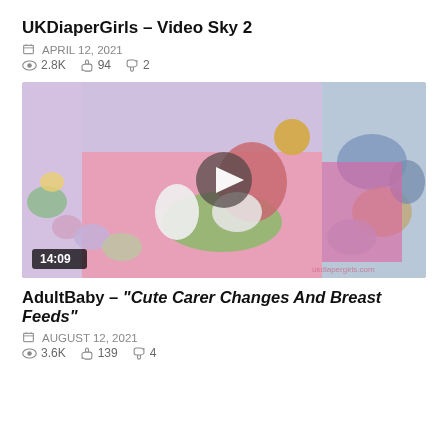UKDiaperGirls – Video Sky 2
APRIL 12, 2021
2.8K  94  2
[Figure (photo): Video thumbnail showing a room with stuffed animals and toys on a pink mat, with a play button overlay and duration badge showing 14:09]
AdultBaby – "Cute Carer Changes And Breast Feeds"
AUGUST 12, 2021
3.6K  139  4